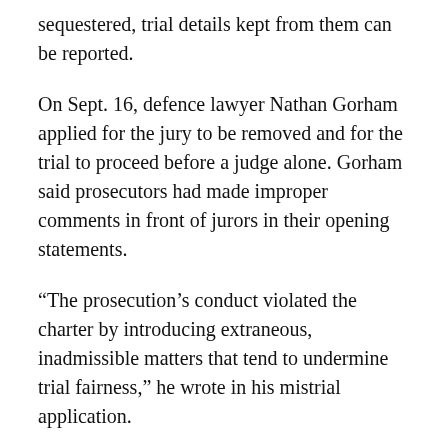sequestered, trial details kept from them can be reported.
On Sept. 16, defence lawyer Nathan Gorham applied for the jury to be removed and for the trial to proceed before a judge alone. Gorham said prosecutors had made improper comments in front of jurors in their opening statements.
“The prosecution’s conduct violated the charter by introducing extraneous, inadmissible matters that tend to undermine trial fairness,” he wrote in his mistrial application.
Raymond, 50, has pleaded not guilty although he has admitted to shooting Donnie Robichaud, Bobbie Lee Wright and police constables Robb Costello and Sara